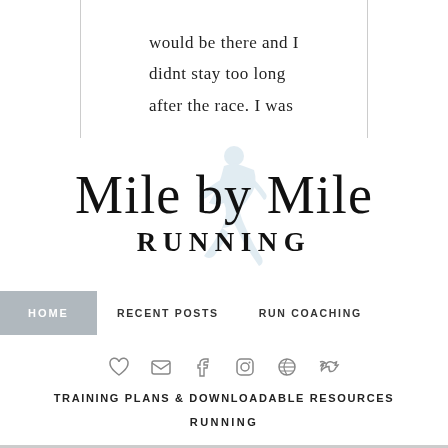would be there and I didnt stay too long after the race. I was
[Figure (logo): Mile by Mile Running blog logo with cursive script text 'Mile by Mile' and bold uppercase 'RUNNING' beneath, with a faded blue/grey runner silhouette watermark in background]
HOME   RECENT POSTS   RUN COACHING
[Figure (infographic): Row of social media icons: heart/Bloglovin, envelope/email, Facebook, Instagram, Pinterest, Twitter]
TRAINING PLANS & DOWNLOADABLE RESOURCES
RUNNING